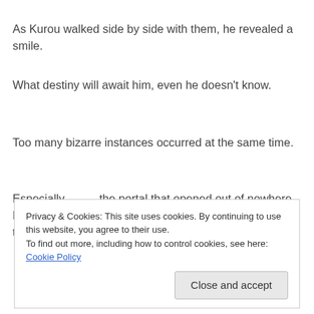As Kurou walked side by side with them, he revealed a smile.
What destiny will await him, even he doesn't know.
Too many bizarre instances occurred at the same time.
Especially———the portal that opened out of nowhere. Kurou firmly believed that it had something to do with the two girls next him.
Privacy & Cookies: This site uses cookies. By continuing to use this website, you agree to their use.
To find out more, including how to control cookies, see here: Cookie Policy
Close and accept